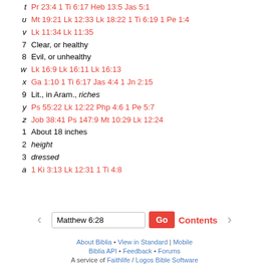t  Pr 23:4 1 Ti 6:17 Heb 13:5 Jas 5:1
u  Mt 19:21 Lk 12:33 Lk 18:22 1 Ti 6:19 1 Pe 1:4
v  Lk 11:34 Lk 11:35
7  Clear, or healthy
8  Evil, or unhealthy
w  Lk 16:9 Lk 16:11 Lk 16:13
x  Ga 1:10 1 Ti 6:17 Jas 4:4 1 Jn 2:15
9  Lit., in Aram., riches
y  Ps 55:22 Lk 12:22 Php 4:6 1 Pe 5:7
z  Job 38:41 Ps 147:9 Mt 10:29 Lk 12:24
1  About 18 inches
2  height
3  dressed
a  1 Ki 3:13 Lk 12:31 1 Ti 4:8
Matthew 6:28 | Go | Contents
About Biblia • View in Standard | Mobile
Biblia API • Feedback • Forums
A service of Faithlife / Logos Bible Software